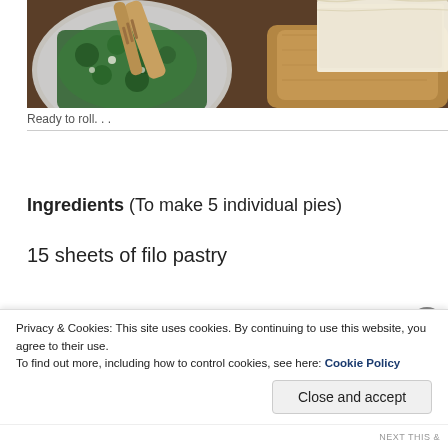[Figure (photo): Photo of spinach being sautéed in a pan with a wooden spatula/fork, with filo pastry sheets visible on a wooden board in the background.]
Ready to roll. . .
Ingredients (To make 5 individual pies)
15 sheets of filo pastry
500 g spinach
Privacy & Cookies: This site uses cookies. By continuing to use this website, you agree to their use.
To find out more, including how to control cookies, see here: Cookie Policy
Close and accept